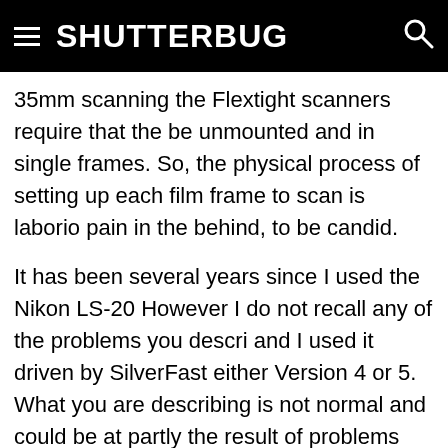SHUTTERBUG
35mm scanning the Flextight scanners require that the be unmounted and in single frames. So, the physical process of setting up each film frame to scan is laborio pain in the behind, to be candid.
It has been several years since I used the Nikon LS-20 However I do not recall any of the problems you descri and I used it driven by SilverFast either Version 4 or 5. What you are describing is not normal and could be at partly the result of problems with profiling and color management.
The Minolta, in my estimation, is a very high-performan scanner capable of capturing and recording the finest